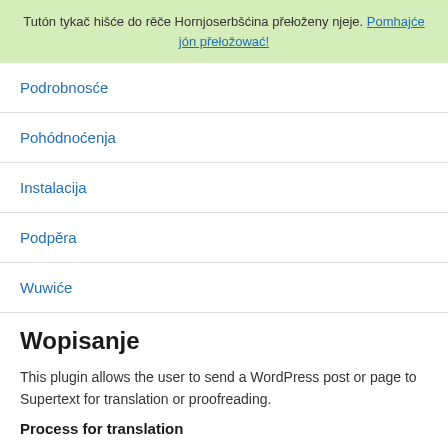Tutón tykač hišće do rěče Hornjoserbšćina přełoženy njeje. Pomhajće jón přełožować!
Podrobnosće
Pohódnoćenja
Instalacija
Podpěra
Wuwiće
Wopisanje
This plugin allows the user to send a WordPress post or page to Supertext for translation or proofreading.
Process for translation